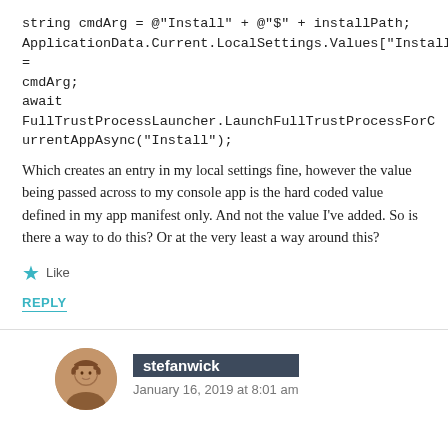string cmdArg = @"Install" + @"$" + installPath;
ApplicationData.Current.LocalSettings.Values["Install"] = cmdArg;
await FullTrustProcessLauncher.LaunchFullTrustProcessForCurrentAppAsync("Install");
Which creates an entry in my local settings fine, however the value being passed across to my console app is the hard coded value defined in my app manifest only. And not the value I've added. So is there a way to do this? Or at the very least a way around this?
★ Like
REPLY
stefanwick
January 16, 2019 at 8:01 am